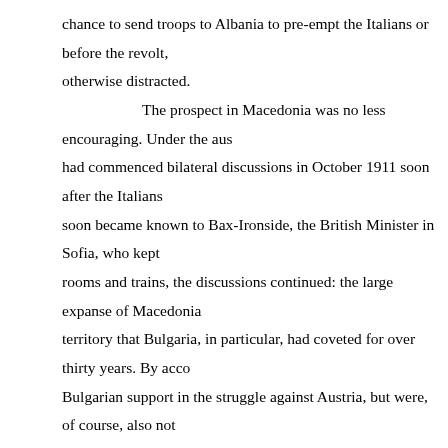chance to send troops to Albania to pre-empt the Italians or before the revolt, otherwise distracted. The prospect in Macedonia was no less encouraging. Under the aus had commenced bilateral discussions in October 1911 soon after the Italians soon became known to Bax-Ironside, the British Minister in Sofia, who kept rooms and trains, the discussions continued: the large expanse of Macedonia territory that Bulgaria, in particular, had coveted for over thirty years. By acco Bulgarian support in the struggle against Austria, but were, of course, also not Albania they, themselves, coveted. Initially, perhaps anticipating the proble Minister, Gueshov, pushed for an autonomous Macedonia, the whole of which but the Serbs would not nibble at that particular bait. Instead, the pencils came recognized the right of Bulgaria to purloin the territory east of the Rhodope M territory north and west of the Shar Mountain. The area in between was to be buffer. If, for some reason, the locals were unhappy over this largess and soug